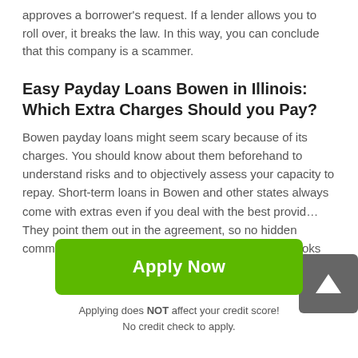approves a borrower's request. If a lender allows you to roll over, it breaks the law. In this way, you can conclude that this company is a scammer.
Easy Payday Loans Bowen in Illinois: Which Extra Charges Should you Pay?
Bowen payday loans might seem scary because of its charges. You should know about them beforehand to understand risks and to objectively assess your capacity to repay. Short-term loans in Bowen and other states always come with extras even if you deal with the best provid… They point them out in the agreement, so no hidden commissions are possible. The list of legit charges looks
[Figure (other): Dark grey scroll-to-top button with upward arrow icon]
Apply Now
Applying does NOT affect your credit score!
No credit check to apply.